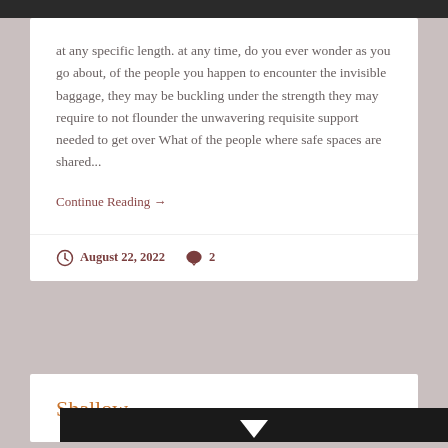at any specific length. at any time, do you ever wonder as you go about, of the people you happen to encounter the invisible baggage, they may be buckling under the strength they may require to not flounder the unwavering requisite support needed to get over What of the people where safe spaces are shared...
Continue Reading →
August 22, 2022   2
Shallow